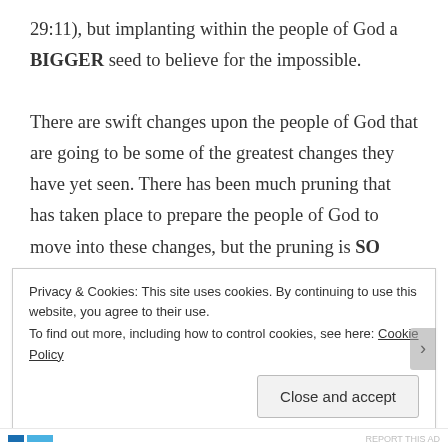29:11), but implanting within the people of God a BIGGER seed to believe for the impossible.

There are swift changes upon the people of God that are going to be some of the greatest changes they have yet seen. There has been much pruning that has taken place to prepare the people of God to move into these changes, but the pruning is SO worth it because it has positioned you for this increase, this promotion,
Privacy & Cookies: This site uses cookies. By continuing to use this website, you agree to their use.
To find out more, including how to control cookies, see here: Cookie Policy
Close and accept